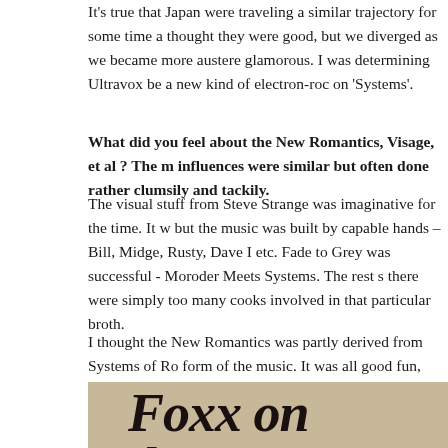It's true that Japan were traveling a similar trajectory for some time and I thought they were good, but we diverged as we became more austere and glamorous. I was determining Ultravox be a new kind of electron-rock on 'Systems'.
What did you feel about the New Romantics, Visage, et al ? The musical influences were similar but often done rather clumsily and tackily.
The visual stuff from Steve Strange was imaginative for the time. It was good but the music was built by capable hands – Bill, Midge, Rusty, Dave I etc. Fade to Grey was successful - Moroder Meets Systems. The rest suffered; there were simply too many cooks involved in that particular broth.
I thought the New Romantics was partly derived from Systems of Romance in form of the music. It was all good fun, even though it was really nothing we were about.
[Figure (photo): Newspaper clipping showing bold italic text reading 'Foxx on the run' on a beige/tan background]